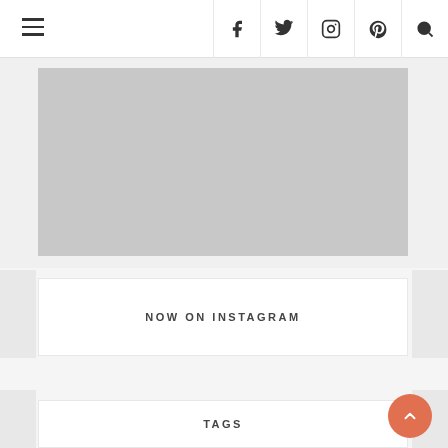Navigation bar with hamburger menu and social icons (Facebook, Twitter, Instagram, Pinterest, Search)
[Figure (photo): Gray placeholder image block representing an advertisement or featured image]
NOW ON INSTAGRAM
TAGS